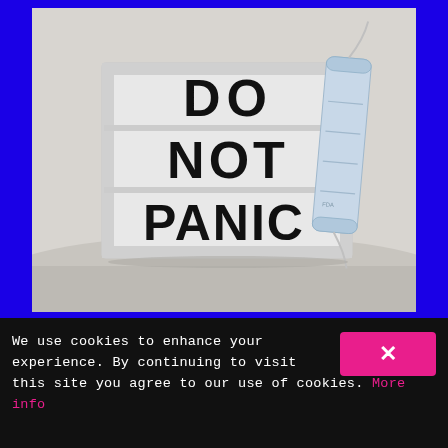[Figure (photo): A white lightbox sign reading 'DO NOT PANIC' in large black letters, with a medical face mask leaning against its right side. The lightbox is placed on a white surface against a light gray background.]
We use cookies to enhance your experience. By continuing to visit this site you agree to our use of cookies. More info